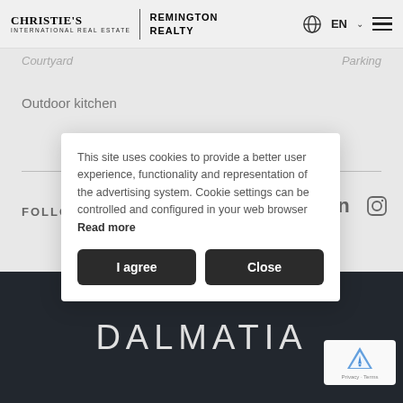CHRISTIE'S INTERNATIONAL REAL ESTATE | REMINGTON REALTY | EN
Courtyard — Parking
Outdoor kitchen
FOLLOW
[Figure (screenshot): Cookie consent dialog overlay with text: This site uses cookies to provide a better user experience, functionality and representation of the advertising system. Cookie settings can be controlled and configured in your web browser Read more. Buttons: I agree, Close.]
DALMATIA
[Figure (logo): reCAPTCHA privacy badge bottom right corner]